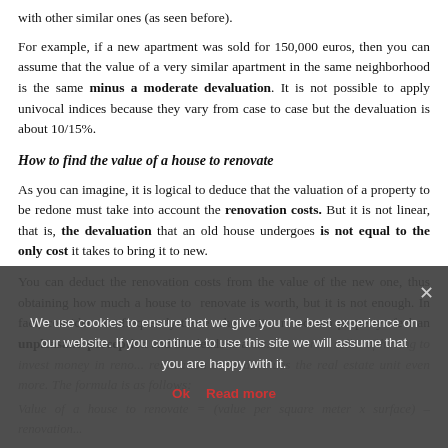with other similar ones (as seen before).
For example, if a new apartment was sold for 150,000 euros, then you can assume that the value of a very similar apartment in the same neighborhood is the same minus a moderate devaluation. It is not possible to apply univocal indices because they vary from case to case but the devaluation is about 10/15%.
How to find the value of a house to renovate
As you can imagine, it is logical to deduce that the valuation of a property to be redone must take into account the renovation costs. But it is not linear, that is, the devaluation that an old house undergoes is not equal to the only cost it takes to bring it to new.
You can deduct the renovation costs from the value of the new one, thus obtaining how much a house to renovate is worth, but it is not enough. In fact, consider that frequently those who visit a run-down property feel an unpleasant perception and this leads to a discounting to a more...
Cookie banner overlay: We use cookies to ensure that we give you the best experience on our website. If you continue to use this site we will assume that you are happy with it. Ok Read more